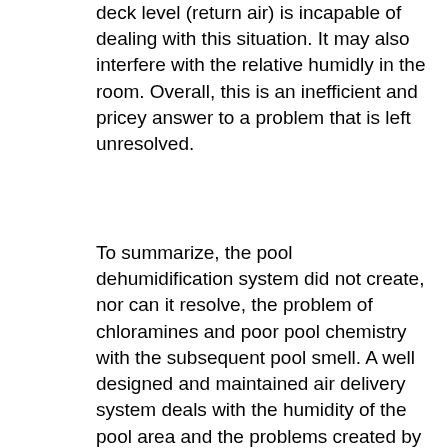deck level (return air) is incapable of dealing with this situation. It may also interfere with the relative humidly in the room. Overall, this is an inefficient and pricey answer to a problem that is left unresolved.
To summarize, the pool dehumidification system did not create, nor can it resolve, the problem of chloramines and poor pool chemistry with the subsequent pool smell. A well designed and maintained air delivery system deals with the humidity of the pool area and the problems created by undue humidity in the environment.
It may potentially aid the air turnover rates but it cannot prevent the chemical reaction and accumulation of chloramines. The better answer is to educate swimmers of the necessity of showering prior to pool entry and to train/educate the staff maintaining the pool to control these reactions by maintaining the